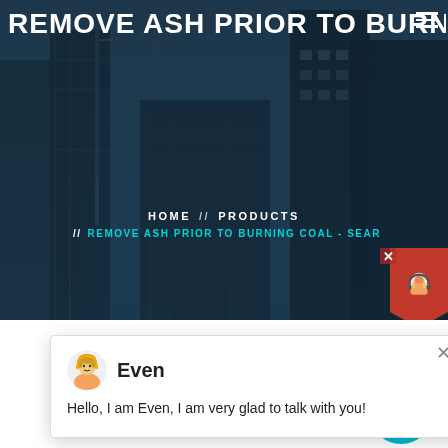[Figure (screenshot): Website screenshot showing a construction/engineering site page. Hero banner with dark overlay on building construction photo. Navigation breadcrumbs showing HOME // PRODUCTS // REMOVE ASH PRIOR TO BURNING COAL - SEAR. A chat popup from agent named Even saying 'Hello, I am Even, I am very glad to talk with you!'. Partially visible 'Latest Projects' section heading. Blue badge with number 1. Industrial machinery photo at bottom. Red support chat widget on right side.]
REMOVE ASH PRIOR TO BURN
HOME // PRODUCTS
// REMOVE ASH PRIOR TO BURNING COAL - SEAR
Even
Hello, I am Even, I am very glad to talk with you!
Latest Projects
[Figure (photo): Industrial machinery - appears to be coal processing or mining equipment inside a facility]